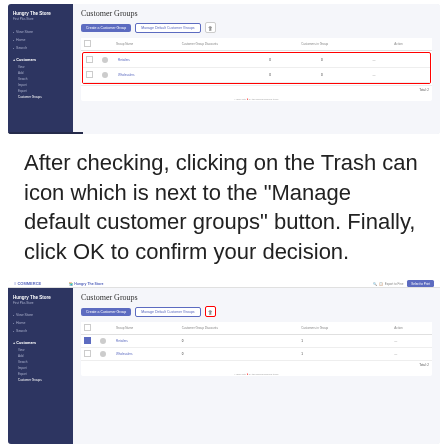[Figure (screenshot): Customer Groups admin screen showing sidebar navigation and table with two rows (Retailers, Wholesalers), with checkboxes column highlighted in red border]
After checking, clicking on the Trash can icon which is next to the “Manage default customer groups” button. Finally, click OK to confirm your decision.
[Figure (screenshot): Customer Groups admin screen with top navigation bar, showing the trash icon highlighted in red border next to Manage Default Customer Groups button, and first row checkbox checked in blue]